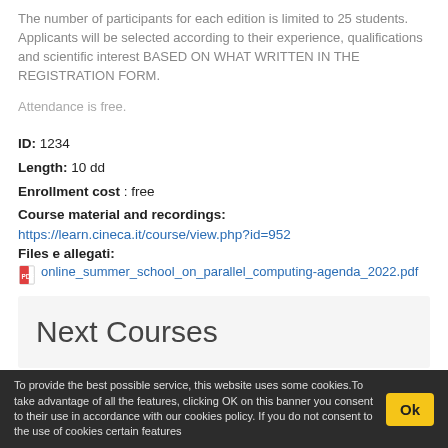The number of participants for each edition is limited to 25 students. Applicants will be selected according to their experience, qualifications and scientific interest BASED ON WHAT WRITTEN IN THE REGISTRATION FORM.
Attendance is free.
ID: 1234
Length: 10 dd
Enrollment cost : free
Course material and recordings:
https://learn.cineca.it/course/view.php?id=952
Files e allegati:
online_summer_school_on_parallel_computing-agenda_2022.pdf
Next Courses
To provide the best possible service, this website uses some cookies.To take advantage of all the features, clicking OK on this banner you consent to their use in accordance with our cookies policy. If you do not consent to the use of cookies certain features